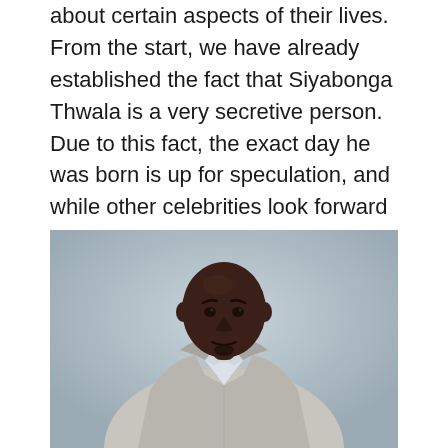about certain aspects of their lives. From the start, we have already established the fact that Siyabonga Thwala is a very secretive person. Due to this fact, the exact day he was born is up for speculation, and while other celebrities look forward to celebrating their birthdays with fans, Thwala's fans don't seem to know the exact birthdate to celebrate their fave.
[Figure (photo): Professional portrait of Siyabonga Thwala, a bald Black man wearing a light grey suit jacket over a white collared shirt, photographed against a light blue-grey background, looking directly at the camera.]